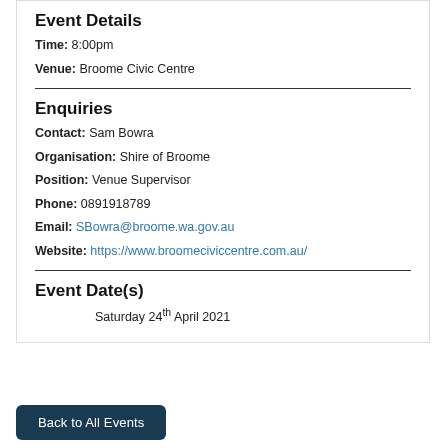Event Details
Time: 8:00pm
Venue: Broome Civic Centre
Enquiries
Contact: Sam Bowra
Organisation: Shire of Broome
Position: Venue Supervisor
Phone: 0891918789
Email: SBowra@broome.wa.gov.au
Website: https://www.broomeciviccentre.com.au/
Event Date(s)
Saturday 24th April 2021
Back to All Events